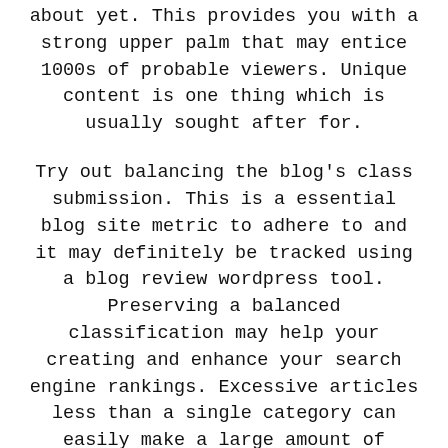about yet. This provides you with a strong upper palm that may entice 1000s of probable viewers. Unique content is one thing which is usually sought after for.
Try out balancing the blog's class submission. This is a essential blog site metric to adhere to and it may definitely be tracked using a blog review wordpress tool. Preserving a balanced classification may help your creating and enhance your search engine rankings. Excessive articles less than a single category can easily make a large amount of replicated articles in your records.
Selecting a good good name for your blog is really important. You would like the label to be relatively